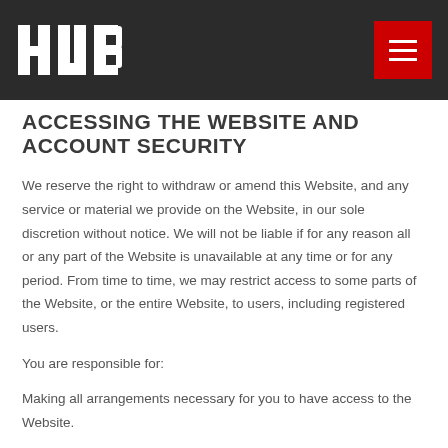HUB
ACCESSING THE WEBSITE AND ACCOUNT SECURITY
We reserve the right to withdraw or amend this Website, and any service or material we provide on the Website, in our sole discretion without notice. We will not be liable if for any reason all or any part of the Website is unavailable at any time or for any period. From time to time, we may restrict access to some parts of the Website, or the entire Website, to users, including registered users.
You are responsible for:
Making all arrangements necessary for you to have access to the Website.
Ensuring that all persons who access the Website through your